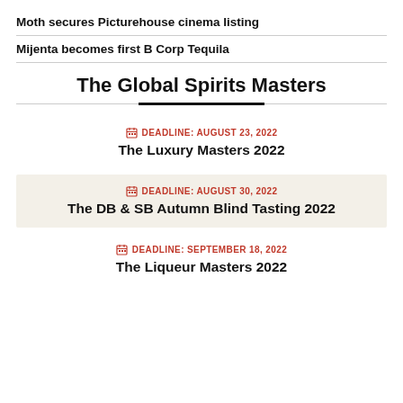Moth secures Picturehouse cinema listing
Mijenta becomes first B Corp Tequila
The Global Spirits Masters
DEADLINE: AUGUST 23, 2022
The Luxury Masters 2022
DEADLINE: AUGUST 30, 2022
The DB & SB Autumn Blind Tasting 2022
DEADLINE: SEPTEMBER 18, 2022
The Liqueur Masters 2022